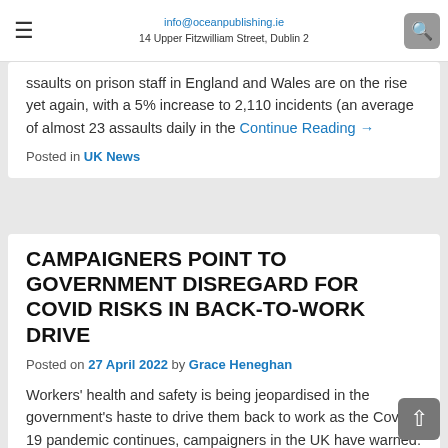info@oceanpublishing.ie | 14 Upper Fitzwilliam Street, Dublin 2
ssaults on prison staff in England and Wales are on the rise yet again, with a 5% increase to 2,110 incidents (an average of almost 23 assaults daily in the Continue Reading →
Posted in UK News
CAMPAIGNERS POINT TO GOVERNMENT DISREGARD FOR COVID RISKS IN BACK-TO-WORK DRIVE
Posted on 27 April 2022 by Grace Heneghan
Workers' health and safety is being jeopardised in the government's haste to drive them back to work as the Covid-19 pandemic continues, campaigners in the UK have warned. The Hazards Continue Reading →